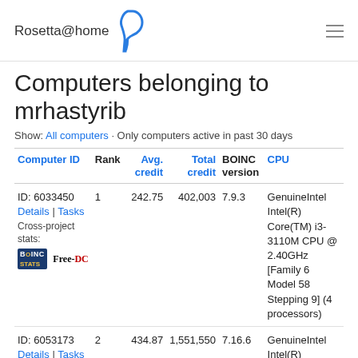Rosetta@home
Computers belonging to mrhastyrib
Show: All computers · Only computers active in past 30 days
| Computer ID | Rank | Avg. credit | Total credit | BOINC version | CPU |
| --- | --- | --- | --- | --- | --- |
| ID: 6033450
Details | Tasks
Cross-project stats: | 1 | 242.75 | 402,003 | 7.9.3 | GenuineIntel Intel(R) Core(TM) i3-3110M CPU @ 2.40GHz [Family 6 Model 58 Stepping 9] (4 processors) |
| ID: 6053173
Details | Tasks
Cross-project stats: | 2 | 434.87 | 1,551,550 | 7.16.6 | GenuineIntel Intel(R) Core(TM)... |